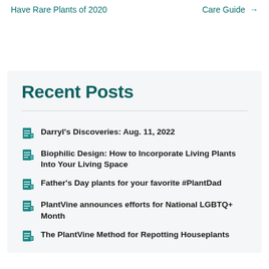Have Rare Plants of 2020    Care Guide →
Recent Posts
Darryl's Discoveries: Aug. 11, 2022
Biophilic Design: How to Incorporate Living Plants Into Your Living Space
Father's Day plants for your favorite #PlantDad
PlantVine announces efforts for National LGBTQ+ Month
The PlantVine Method for Repotting Houseplants